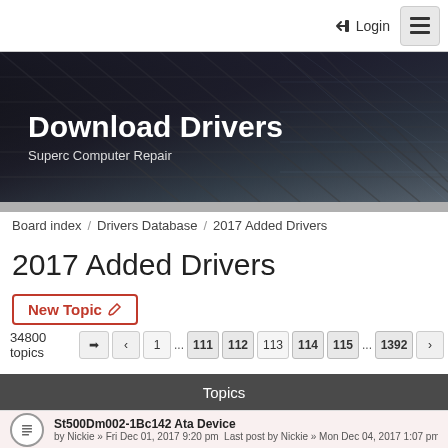Login
[Figure (screenshot): Banner image with dark architectural building facade background showing Download Drivers heading and Superc Computer Repair subtitle]
Download Drivers
Superc Computer Repair
Board index / Drivers Database / 2017 Added Drivers
2017 Added Drivers
New Topic
34800 topics  1 ... 111 112 113 114 115 ... 1392
Topics
St500Dm002-1Bc142 Ata Device
by Nickie » Fri Dec 01, 2017 9:20 pm
Last post by Nickie » Mon Dec 04, 2017 1:07 pm